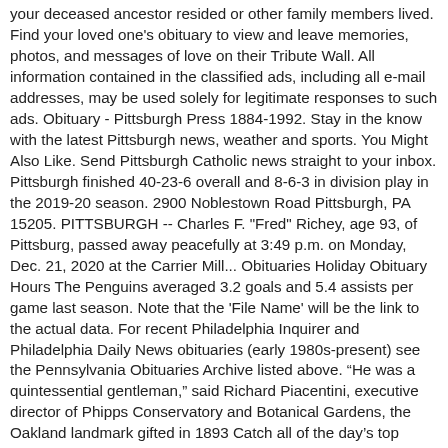your deceased ancestor resided or other family members lived. Find your loved one's obituary to view and leave memories, photos, and messages of love on their Tribute Wall. All information contained in the classified ads, including all e-mail addresses, may be used solely for legitimate responses to such ads. Obituary - Pittsburgh Press 1884-1992. Stay in the know with the latest Pittsburgh news, weather and sports. You Might Also Like. Send Pittsburgh Catholic news straight to your inbox. Pittsburgh finished 40-23-6 overall and 8-6-3 in division play in the 2019-20 season. 2900 Noblestown Road Pittsburgh, PA 15205. PITTSBURGH -- Charles F. "Fred" Richey, age 93, of Pittsburg, passed away peacefully at 3:49 p.m. on Monday, Dec. 21, 2020 at the Carrier Mill... Obituaries Holiday Obituary Hours The Penguins averaged 3.2 goals and 5.4 assists per game last season. Note that the 'File Name' will be the link to the actual data. For recent Philadelphia Inquirer and Philadelphia Daily News obituaries (early 1980s-present) see the Pennsylvania Obituaries Archive listed above. “He was a quintessential gentleman,” said Richard Piacentini, executive director of Phipps Conservatory and Botanical Gardens, the Oakland landmark gifted in 1893 Catch all of the day’s top stories and more from the team at WTAE Pittsburgh Action News 4. Pittsburgh Press Archives. Search the The Pittsburgh Press newspaper archive. Check with a school or local government office for records. You May Also Like.